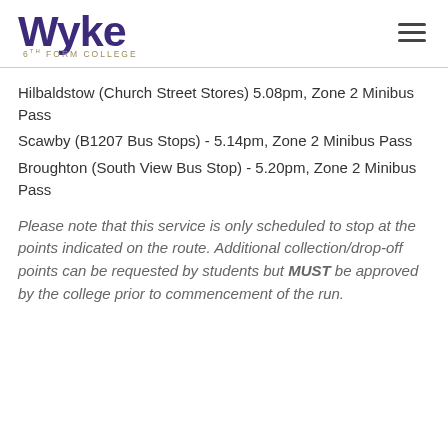Wyke 6th Form College
Hilbaldstow (Church Street Stores) 5.08pm, Zone 2 Minibus Pass
Scawby (B1207 Bus Stops) - 5.14pm, Zone 2 Minibus Pass
Broughton (South View Bus Stop) - 5.20pm, Zone 2 Minibus Pass
Please note that this service is only scheduled to stop at the points indicated on the route. Additional collection/drop-off points can be requested by students but MUST be approved by the college prior to commencement of the run.